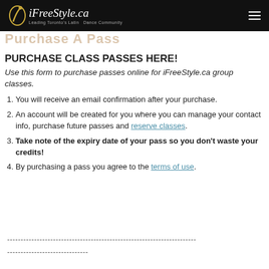iFreeStyle.ca — Leading Toronto's Latin Dance Community
Purchase A Pass
PURCHASE CLASS PASSES HERE!
Use this form to purchase passes online for iFreeStyle.ca group classes.
You will receive an email confirmation after your purchase.
An account will be created for you where you can manage your contact info, purchase future passes and reserve classes.
Take note of the expiry date of your pass so you don't waste your credits!
By purchasing a pass you agree to the terms of use.
----------------------------------------------------------------------
------------------------------